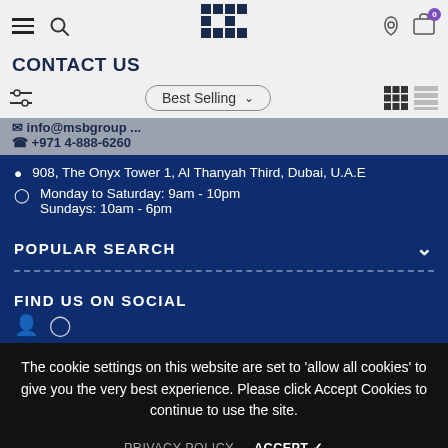Navigation bar with menu, search, logo, user and cart icons
CONTACT US
Best Selling (sort dropdown)
info@msbgroup ... +971 4-888-6260
908, The Onyx Tower 1, Al Thanyah Third, Dubai, U.A.E
Monday to Saturday: 9am - 10pm
Sundays: 10am - 6pm
POPULAR SEARCH
FIND US ON SOCIAL
The cookie settings on this website are set to 'allow all cookies' to give you the very best experience. Please click Accept Cookies to continue to use the site.
PRIVACY POLICY    ACCEPT ✓
Copyright All Rights Reserved